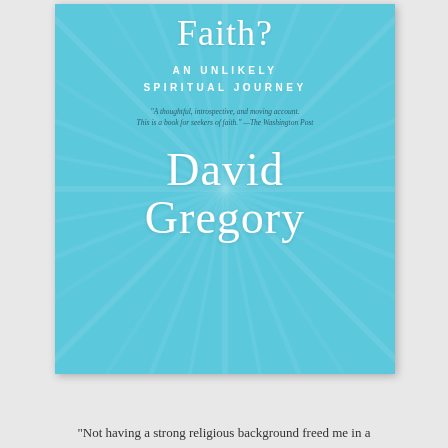[Figure (illustration): Book cover for 'What Is Your Faith? An Unlikely Spiritual Journey' by David Gregory. Light blue/cyan background with white sunburst ray pattern radiating from center. White text displays partial title 'Faith?' at top, subtitle 'AN UNLIKELY SPIRITUAL JOURNEY' below, a book blurb quote from The Washington Post in italic, and the author name 'David Gregory' in large serif font.]
“Not having a strong religious background freed me in a